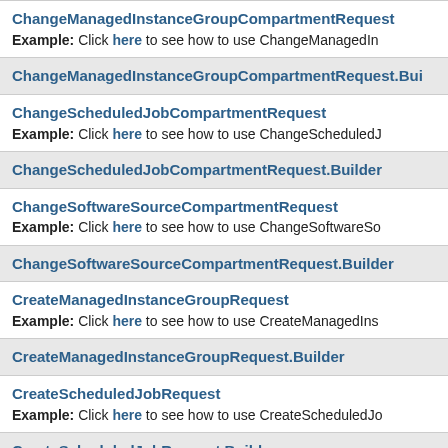ChangeManagedInstanceGroupCompartmentRequest
Example: Click here to see how to use ChangeManagedIn
ChangeManagedInstanceGroupCompartmentRequest.Bui
ChangeScheduledJobCompartmentRequest
Example: Click here to see how to use ChangeScheduledJ
ChangeScheduledJobCompartmentRequest.Builder
ChangeSoftwareSourceCompartmentRequest
Example: Click here to see how to use ChangeSoftwareSo
ChangeSoftwareSourceCompartmentRequest.Builder
CreateManagedInstanceGroupRequest
Example: Click here to see how to use CreateManagedIns
CreateManagedInstanceGroupRequest.Builder
CreateScheduledJobRequest
Example: Click here to see how to use CreateScheduledJo
CreateScheduledJobRequest.Builder
CreateSoftwareSourceRequest